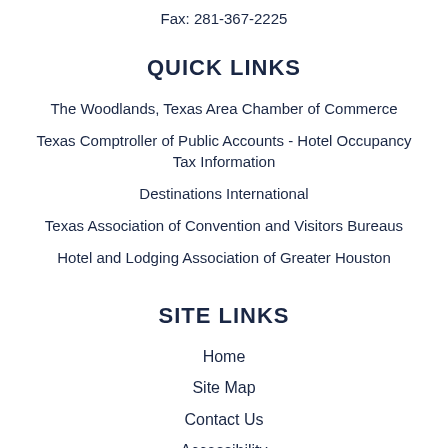Fax: 281-367-2225
QUICK LINKS
The Woodlands, Texas Area Chamber of Commerce
Texas Comptroller of Public Accounts - Hotel Occupancy Tax Information
Destinations International
Texas Association of Convention and Visitors Bureaus
Hotel and Lodging Association of Greater Houston
SITE LINKS
Home
Site Map
Contact Us
Accessibility